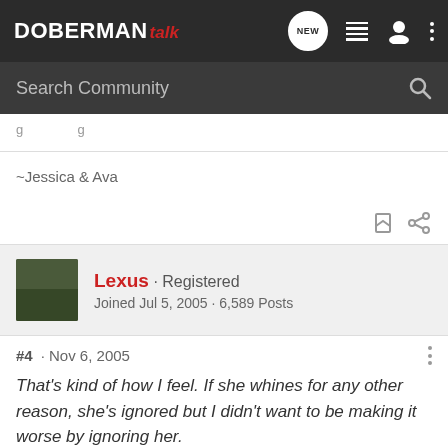DOBERMAN talk
Search Community
~Jessica & Ava
Lexus · Registered
Joined Jul 5, 2005 · 6,589 Posts
#4 · Nov 6, 2005
That's kind of how I feel. If she whines for any other reason, she's ignored but I didn't want to be making it worse by ignoring her.